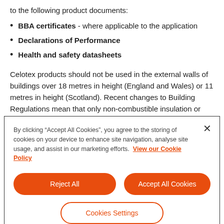to the following product documents:
BBA certificates - where applicable to the application
Declarations of Performance
Health and safety datasheets
Celotex products should not be used in the external walls of buildings over 18 metres in height (England and Wales) or 11 metres in height (Scotland). Recent changes to Building Regulations mean that only non-combustible insulation or
By clicking “Accept All Cookies”, you agree to the storing of cookies on your device to enhance site navigation, analyse site usage, and assist in our marketing efforts. View our Cookie Policy
Reject All
Accept All Cookies
Cookies Settings